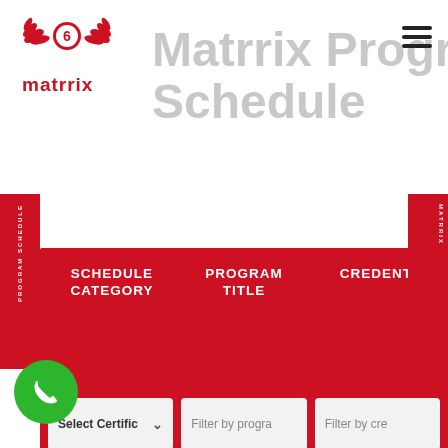[Figure (logo): Matrrix logo with red wings and number 6]
Matrrix Programs Schedule
[Figure (screenshot): Program schedule filter panel with Schedule Category, Program Title, and Credentials dropdowns/inputs on red background]
[Figure (screenshot): Click here to Schedule an Appointment button with calendar icon, phone button, and chat button at bottom]